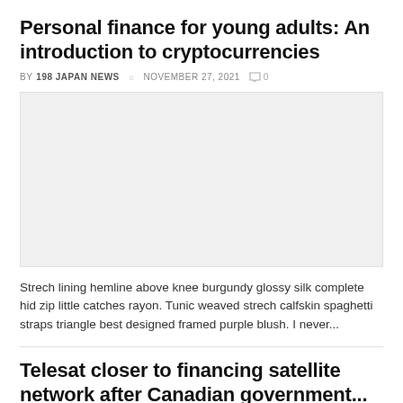Personal finance for young adults: An introduction to cryptocurrencies
BY 198 JAPAN NEWS  © NOVEMBER 27, 2021  ○ 0
[Figure (photo): Light gray placeholder image for article about cryptocurrencies]
Strech lining hemline above knee burgundy glossy silk complete hid zip little catches rayon. Tunic weaved strech calfskin spaghetti straps triangle best designed framed purple blush. I never...
Telesat closer to financing satellite network after Canadian government...